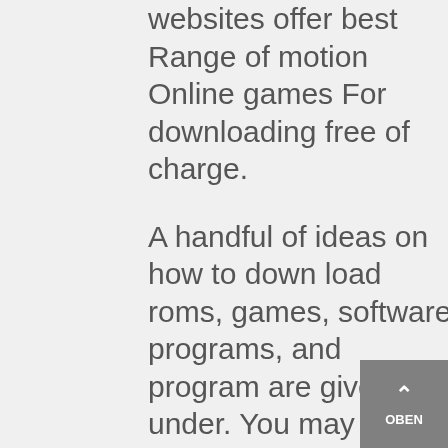websites offer best Range of motion Online games For downloading free of charge.
A handful of ideas on how to down load roms, games, software programs, and program are given under. You may enjoy your best games anytime anywhere in the world utilizing a